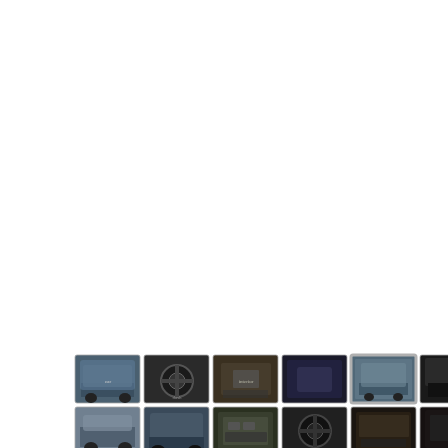[Figure (screenshot): Car listing photo gallery thumbnail strip showing 14 small thumbnail images of a dark-colored Honda car (exterior, interior, dashboard, engine, trunk views) arranged in 3 rows, with the 5th thumbnail in the first row highlighted/active with a border. Two control buttons (expand and pause/play) appear to the right of the first row.]